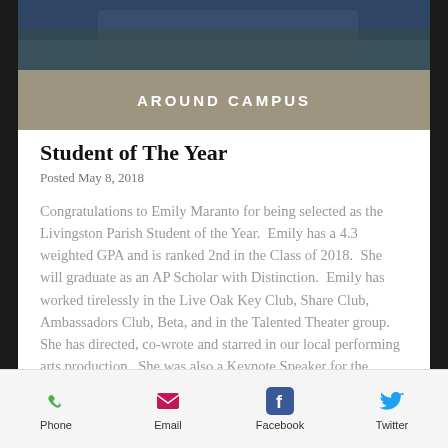[Figure (photo): Partial photo of a person in dark clothing at top of page]
AROUND CAMPUS
Student of The Year
Posted May 8, 2018
Congratulations to Emily Maranto for being selected as the Livingston Parish Student of the Year.  Emily has a 4.3 weighted GPA and is ranked 2nd in the Class of 2018.  She will graduate as an AP Scholar with Distinction.  Emily has worked tirelessly in the Live Oak Key Club, Share Club, Ambassadors Club, Beta, and in the Talented Theater group.  She has directed, co-wrote and starred in our local performing arts production.  She was also a Keynote Speaker for the Louisiana Girls
Phone  Email  Facebook  Twitter